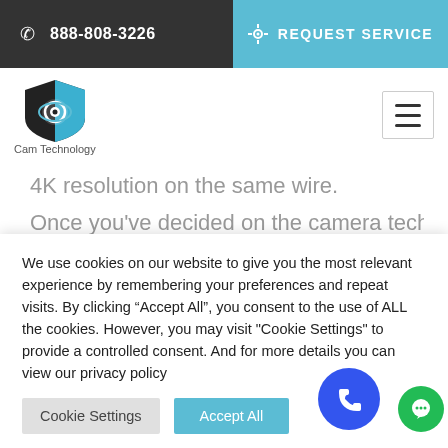888-808-3226  |  REQUEST SERVICE
[Figure (logo): Cam Technology logo with shield and camera eye icon, black and blue colors, text 'Cam Technology' below]
4K resolution on the same wire.
Once you've decided on the camera technology (CCTV, HDCVI, HDTVI, HSDI, AHD, IP network...
We use cookies on our website to give you the most relevant experience by remembering your preferences and repeat visits. By clicking "Accept All", you consent to the use of ALL the cookies. However, you may visit "Cookie Settings" to provide a controlled consent. And for more details you can view our privacy policy
Cookie Settings
Accept All